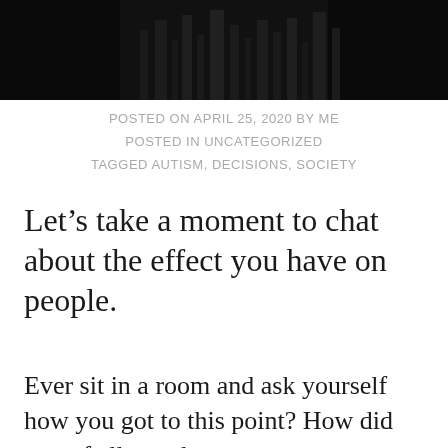[Figure (photo): Dark nighttime cityscape or bar/shelf scene, nearly black image at the top of the page]
POSTED ON APRIL 25, 2020 BY ME
POSTED IN UNCATEGORIZED
TAGGED AUTISM, DECISIONS, SOCIETY
Let’s take a moment to chat about the effect you have on people.
Ever sit in a room and ask yourself how you got to this point? How did you of all people